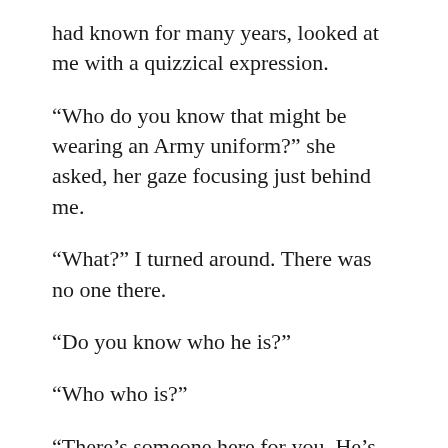had known for many years, looked at me with a quizzical expression.
“Who do you know that might be wearing an Army uniform?” she asked, her gaze focusing just behind me.
“What?” I turned around. There was no one there.
“Do you know who he is?”
“Who who is?”
“There’s someone here for you. He’s wearing fatigues. I sometimes see things,” she said with a smile and a shrug.
I turned around again. “Don?” I mumbled.